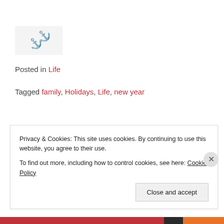[Figure (illustration): Link/chain icon button in a light grey box]
Posted in Life
Tagged family, Holidays, Life, new year
← friendsgiving // friends gathering
golden globes red carpet 2016
Privacy & Cookies: This site uses cookies. By continuing to use this website, you agree to their use.
To find out more, including how to control cookies, see here: Cookie Policy
Close and accept